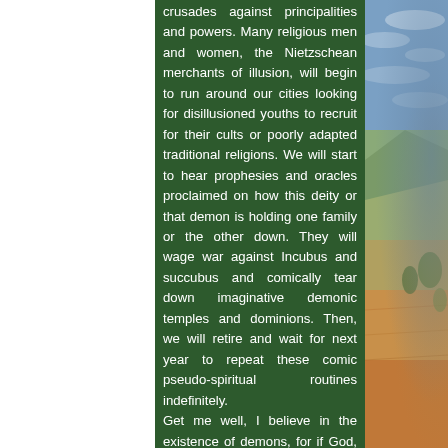crusades against principalities and powers. Many religious men and women, the Nietzschean merchants of illusion, will begin to run around our cities looking for disillusioned youths to recruit for their cults or poorly adapted traditional religions. We will start to hear prophesies and oracles proclaimed on how this deity or that demon is holding one family or the other down. They will wage war against Incubus and succubus and comically tear down imaginative demonic temples and dominions. Then, we will retire and wait for next year to repeat these comic pseudo-spiritual routines indefinitely.
Get me well, I believe in the existence of demons, for if God, Angels and Spirits exist, why wouldn't demons exist?
[Figure (photo): Desert landscape photograph showing blue sky with clouds at the top transitioning to arid terrain with orange/red sand dunes and sparse vegetation at the bottom right.]